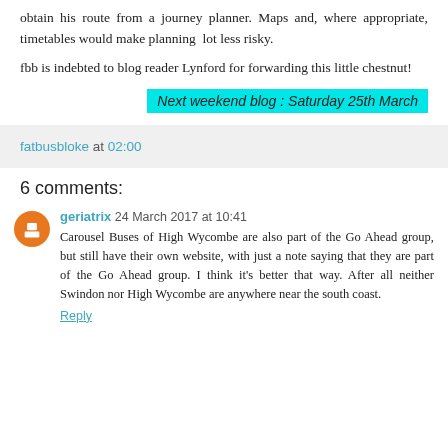obtain his route from a journey planner. Maps and, where appropriate, timetables would make planning lot less risky.
fbb is indebted to blog reader Lynford for forwarding this little chestnut!
Next weekend blog : Saturday 25th March
fatbusbloke at 02:00
6 comments:
geriatrix 24 March 2017 at 10:41
Carousel Buses of High Wycombe are also part of the Go Ahead group, but still have their own website, with just a note saying that they are part of the Go Ahead group. I think it's better that way. After all neither Swindon nor High Wycombe are anywhere near the south coast.
Reply